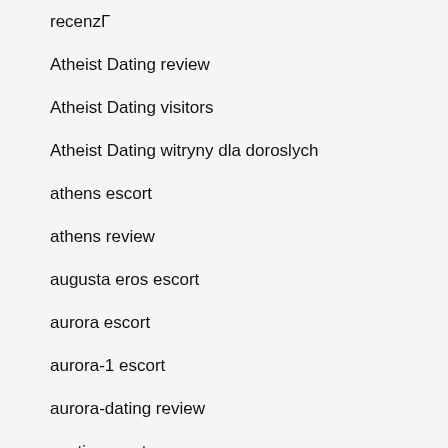recenzΓ
Atheist Dating review
Atheist Dating visitors
Atheist Dating witryny dla doroslych
athens escort
athens review
augusta eros escort
aurora escort
aurora-1 escort
aurora-dating review
austin escort
austin review